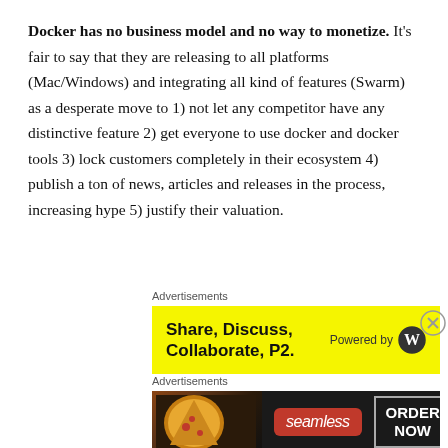Docker has no business model and no way to monetize. It's fair to say that they are releasing to all platforms (Mac/Windows) and integrating all kind of features (Swarm) as a desperate move to 1) not let any competitor have any distinctive feature 2) get everyone to use docker and docker tools 3) lock customers completely in their ecosystem 4) publish a ton of news, articles and releases in the process, increasing hype 5) justify their valuation.
[Figure (other): Yellow advertisement banner for 'Share, Discuss, Collaborate, P2.' powered by WordPress logo]
[Figure (other): Dark advertisement banner for Seamless food delivery with pizza image, red Seamless logo, and ORDER NOW button]